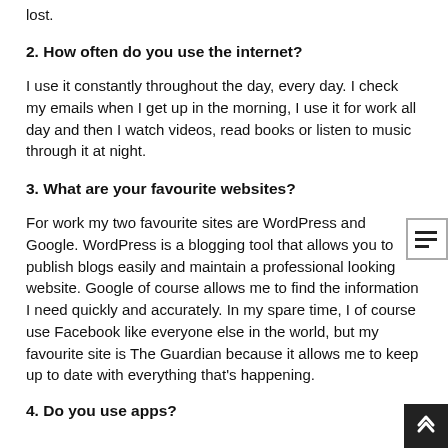lost.
2. How often do you use the internet?
I use it constantly throughout the day, every day. I check my emails when I get up in the morning, I use it for work all day and then I watch videos, read books or listen to music through it at night.
3. What are your favourite websites?
For work my two favourite sites are WordPress and Google. WordPress is a blogging tool that allows you to publish blogs easily and maintain a professional looking website. Google of course allows me to find the information I need quickly and accurately. In my spare time, I of course use Facebook like everyone else in the world, but my favourite site is The Guardian because it allows me to keep up to date with everything that's happening.
4. Do you use apps?